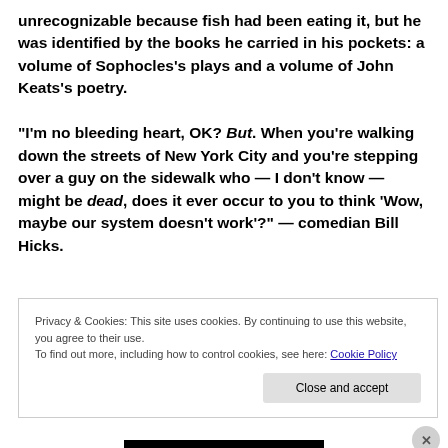unrecognizable because fish had been eating it, but he was identified by the books he carried in his pockets: a volume of Sophocles's plays and a volume of John Keats's poetry.

“I’m no bleeding heart, OK? But. When you’re walking down the streets of New York City and you’re stepping over a guy on the sidewalk who — I don’t know — might be dead, does it ever occur to you to think ‘Wow, maybe our system doesn’t work’?” — comedian Bill Hicks.
Privacy & Cookies: This site uses cookies. By continuing to use this website, you agree to their use.
To find out more, including how to control cookies, see here: Cookie Policy